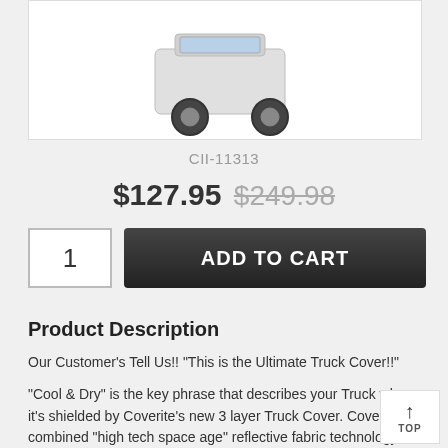[Figure (photo): Partial view of a truck/vehicle product image on white background]
CII-11313
$127.95 $249.98
1  ADD TO CART
Product Description
Our Customer's Tell Us!! "This is the Ultimate Truck Cover!!"
"Cool & Dry" is the key phrase that describes your Truck when it's shielded by Coverite's new 3 layer Truck Cover. Coverite combined "high tech space age" reflective fabric technology with innovative design to create the near perfect cover. The special fabric is woven in Coverite's own mill from 100% polyester thread. Each thread of